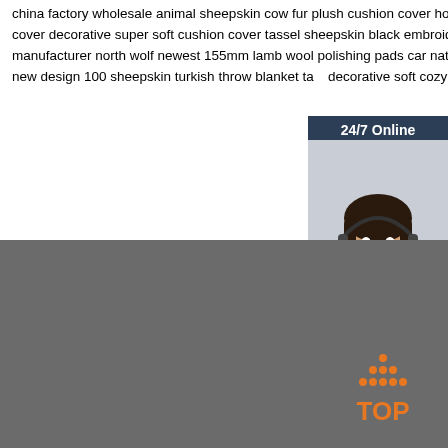china factory wholesale animal sheepskin cow fur plush cushion cover home decor moroccan geometric sheepskin knit cushion cover decorative super soft cushion cover tassel sheepskin black embroidery flower pillow case mandala cushion cover manufacturer north wolf newest 155mm lamb wool polishing pads car natural wool buffing pads polishers new design 100 sheepskin turkish throw blanket tabl decorative soft cozy woven bed throw sofa blanket
[Figure (photo): Customer service representative woman with headset, smiling. Dark blue header bar reading '24/7 Online'. Below photo: italic text 'Click here for free chat!' and orange button 'QUOTATION'.]
Contact Us
Tel:15517160690
Phone:+86-13523203337
Fax:15517160690
Email:kongweihui01@gmail.com
[Figure (logo): Orange 'TOP' logo with triangular dot pattern above the text]